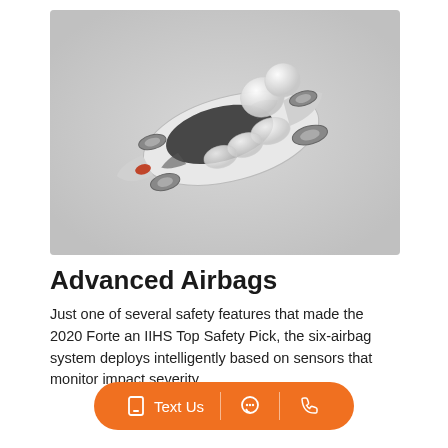[Figure (photo): Top-down aerial view of a white sedan (Kia Forte) with deployed airbags illustrated as white inflated balloons — front driver, front passenger, and side curtain airbags visible, shown on a light gray background.]
Advanced Airbags
Just one of several safety features that made the 2020 Forte an IIHS Top Safety Pick, the six-airbag system deploys intelligently based on sensors that monitor impact severity.